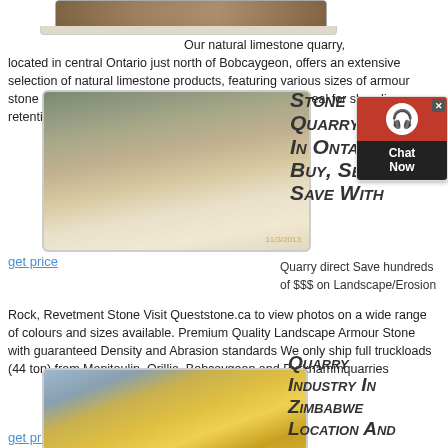[Figure (photo): Top partial photo of stone/rock quarry surface, brown/tan tones]
Our natural limestone quarry, located in central Ontario just north of Bobcaygeon, offers an extensive selection of natural limestone products, featuring various sizes of armour stone including oversized slabs. Our armour stone is ideal for shoreline retention and
get price
[Figure (photo): Quarry processing facility with conveyor belts, machinery and equipment at a limestone quarry site]
Stone Quarry Ki... In Ontario. Buy, Sell & Save With
[Figure (other): Chat widget with red background, headphone icon and Chat Now button]
Quarry direct Save hundreds of $$$ on Landscape/Erosion Rock, Revetment Stone Visit Queststone.ca to view photos on a wide range of colours and sizes available. Premium Quality Landscape Armour Stone with guaranteed Density and Abrasion standards We only ship full truckloads (44 ton) from Manitoulin, Orillia, Bobcaygeon and Burkhammquarries
get price
[Figure (photo): Yellow quarry equipment/machinery at a quarry site with blue sky background]
Quarry Industry In Zimbabwe Location And